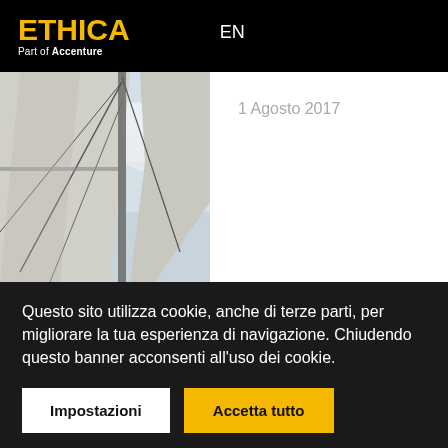ETHICA Part of Accenture | EN
[Figure (photo): Angled view looking up at sailboat masts and white sails against a bright sky]
1 Agosto 2017
Questo sito utilizza cookie, anche di terze parti, per migliorare la tua esperienza di navigazione. Chiudendo questo banner acconsenti all'uso dei cookie.
Impostazioni | Accetta tutto